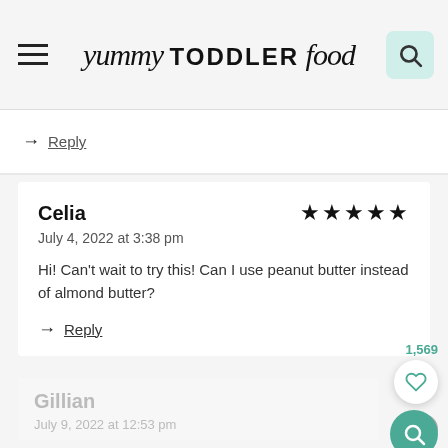yummy TODDLER food
→ Reply
Celia ★★★★★ July 4, 2022 at 3:38 pm Hi! Can't wait to try this! Can I use peanut butter instead of almond butter? → Reply
Gillian July 9, 2022 at 12:53 pm